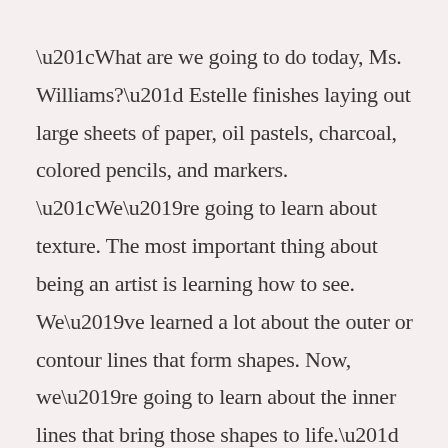“What are we going to do today, Ms. Williams?” Estelle finishes laying out large sheets of paper, oil pastels, charcoal, colored pencils, and markers. “We’re going to learn about texture. The most important thing about being an artist is learning how to see. We’ve learned a lot about the outer or contour lines that form shapes. Now, we’re going to learn about the inner lines that bring those shapes to life.” Alisha is amazed by Estelle and listens eagerly. “Here are crayons and charcoal. First, I want you to take a piece of paper and one of either, and